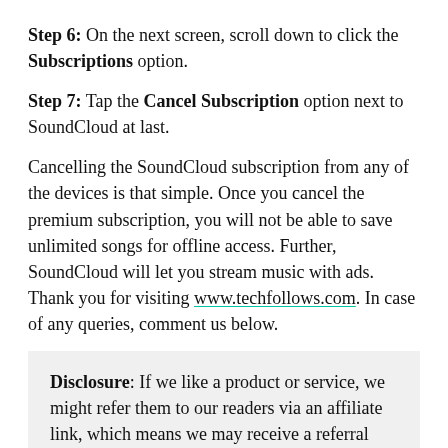Step 6: On the next screen, scroll down to click the Subscriptions option.
Step 7: Tap the Cancel Subscription option next to SoundCloud at last.
Cancelling the SoundCloud subscription from any of the devices is that simple. Once you cancel the premium subscription, you will not be able to save unlimited songs for offline access. Further, SoundCloud will let you stream music with ads. Thank you for visiting www.techfollows.com. In case of any queries, comment us below.
Disclosure: If we like a product or service, we might refer them to our readers via an affiliate link, which means we may receive a referral commission from the sale of those products.